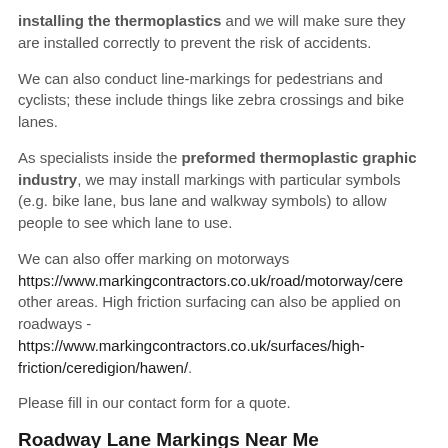installing the thermoplastics and we will make sure they are installed correctly to prevent the risk of accidents.
We can also conduct line-markings for pedestrians and cyclists; these include things like zebra crossings and bike lanes.
As specialists inside the preformed thermoplastic graphic industry, we may install markings with particular symbols (e.g. bike lane, bus lane and walkway symbols) to allow people to see which lane to use.
We can also offer marking on motorways https://www.markingcontractors.co.uk/road/motorway/cere... other areas. High friction surfacing can also be applied on roadways - https://www.markingcontractors.co.uk/surfaces/high-friction/ceredigion/hawen/.
Please fill in our contact form for a quote.
Roadway Lane Markings Near Me
One of the most important things to think about when driving or cycling on roads is to stay inside your lane to ensure nobody gets